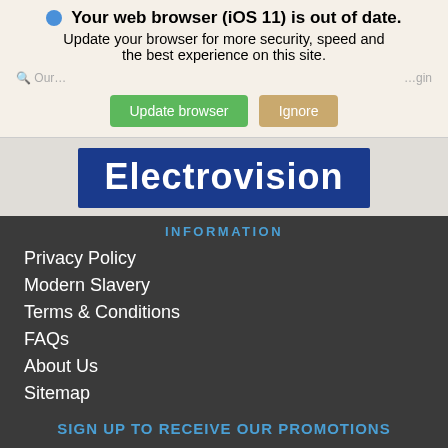Your web browser (iOS 11) is out of date. Update your browser for more security, speed and the best experience on this site.
Update browser | Ignore
[Figure (logo): Electrovision logo — white bold text on dark blue background]
INFORMATION
Privacy Policy
Modern Slavery
Terms & Conditions
FAQs
About Us
Sitemap
SIGN UP TO RECEIVE OUR PROMOTIONS
Be the first to receive all the latest product news and offers
Email Address  SIGN UP